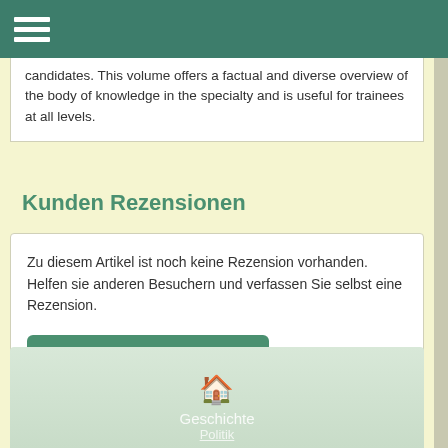navigation bar with hamburger menu
candidates. This volume offers a factual and diverse overview of the body of knowledge in the specialty and is useful for trainees at all levels.
Kunden Rezensionen
Zu diesem Artikel ist noch keine Rezension vorhanden. Helfen sie anderen Besuchern und verfassen Sie selbst eine Rezension.
> neue Rezension schreiben
Geschichte